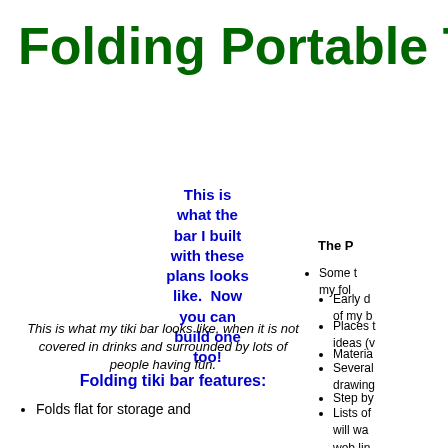Folding Portable T
The P
This is what the bar I built with these plans looks like.  Now you can build one too!
This is what my tiki bar looks like, when it is not covered in drinks and surrounded by lots of people having fun.
Some t my fol
Early d of my b
Places t ideas (v
Materia
Several drawing
Step by
Lists of will wa web lin
Folding tiki bar features:
Folds flat for storage and
Plans ar (Adobe and ar